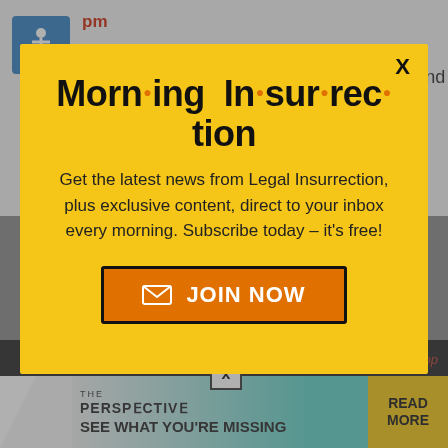pm
Looking back, the suspension happened moments after I said I saved screenshots and would like help
[Figure (screenshot): Modal popup with yellow background for Morning Insurrection newsletter signup from Legal Insurrection]
Morn·ing In·sur·rec·tion
Get the latest news from Legal Insurrection, plus exclusive content, direct to your inbox every morning. Subscribe today – it's free!
JOIN NOW
September 2, 2018 at 1:14 pm
back to top
[Figure (screenshot): Bottom ad banner: THE PERSPECTIVE - SEE WHAT YOU'RE MISSING - READ MORE]